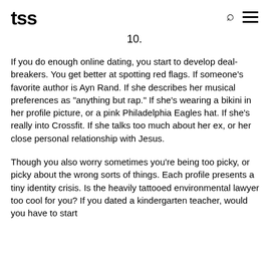tss
10.
If you do enough online dating, you start to develop deal-breakers. You get better at spotting red flags. If someone’s favorite author is Ayn Rand. If she describes her musical preferences as “anything but rap.” If she’s wearing a bikini in her profile picture, or a pink Philadelphia Eagles hat. If she’s really into Crossfit. If she talks too much about her ex, or her close personal relationship with Jesus.
Though you also worry sometimes you’re being too picky, or picky about the wrong sorts of things. Each profile presents a tiny identity crisis. Is the heavily tattooed environmental lawyer too cool for you? If you dated a kindergarten teacher, would you have to start